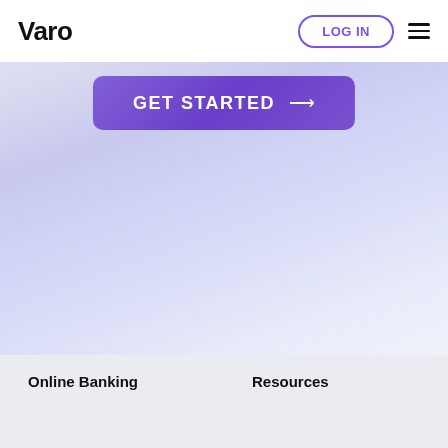Varo
LOG IN
GET STARTED →
Online Banking
Resources